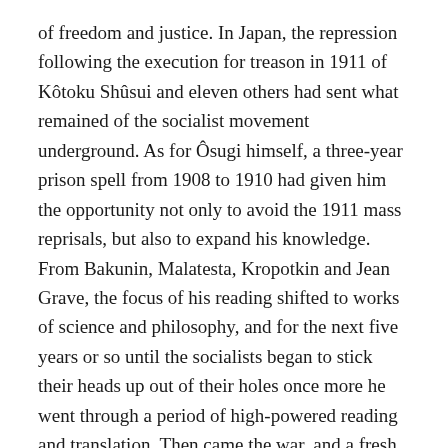of freedom and justice. In Japan, the repression following the execution for treason in 1911 of Kôtoku Shûsui and eleven others had sent what remained of the socialist movement underground. As for Ôsugi himself, a three-year prison spell from 1908 to 1910 had given him the opportunity not only to avoid the 1911 mass reprisals, but also to expand his knowledge. From Bakunin, Malatesta, Kropotkin and Jean Grave, the focus of his reading shifted to works of science and philosophy, and for the next five years or so until the socialists began to stick their heads up out of their holes once more he went through a period of high-powered reading and translation. Then came the war, and a fresh departure in the tone of his thinking.
The revival of the popular movement in Japan after the war – particularly the sudden outbreak of the 'Rice